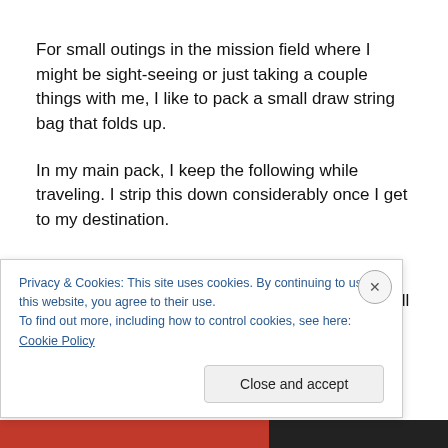For small outings in the mission field where I might be sight-seeing or just taking a couple things with me, I like to pack a small draw string bag that folds up.
In my main pack, I keep the following while traveling. I strip this down considerably once I get to my destination.
Hand sanitizer
Carabiner clipped to the outside. I use this all the time
Privacy & Cookies: This site uses cookies. By continuing to use this website, you agree to their use.
To find out more, including how to control cookies, see here: Cookie Policy